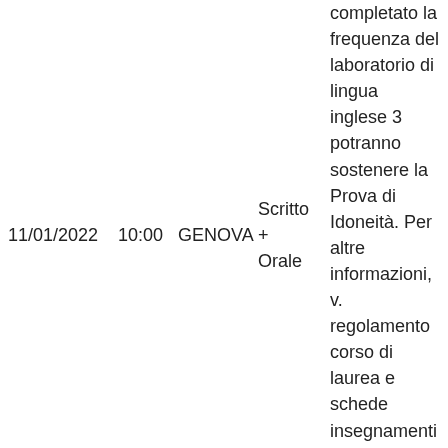| Data | Ora | Sede | Tipo | Note |
| --- | --- | --- | --- | --- |
| 11/01/2022 | 10:00 | GENOVA | Scritto + Orale | completato la frequenza del laboratorio di lingua inglese 3 potranno sostenere la Prova di Idoneità. Per altre informazioni, v. regolamento corso di laurea e schede insegnamenti. |
|  |  |  |  | Solo gli studenti che avranno completato |